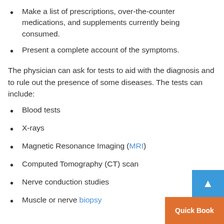Make a list of prescriptions, over-the-counter medications, and supplements currently being consumed.
Present a complete account of the symptoms.
The physician can ask for tests to aid with the diagnosis and to rule out the presence of some diseases. The tests can include:
Blood tests
X-rays
Magnetic Resonance Imaging (MRI)
Computed Tomography (CT) scan
Nerve conduction studies
Muscle or nerve biopsy